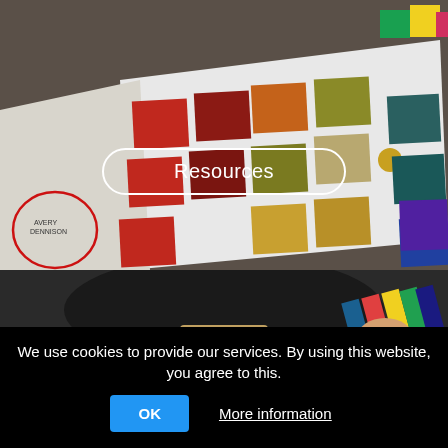[Figure (photo): Overhead view of fabric swatch sample card showing multiple colored fabric squares arranged in a grid, including red, orange, green, teal, purple, and neutral colors. A circular logo is partially visible on the left side.]
Resources
[Figure (photo): Person sitting and holding a multi-colored fan of fabric samples or color swatches, photographed from above at an angle.]
Design
We use cookies to provide our services. By using this website, you agree to this.
OK
More information